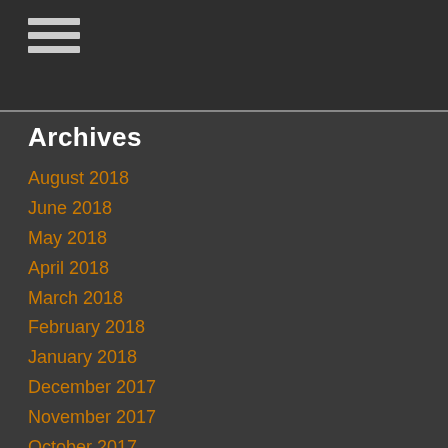☰
Archives
August 2018
June 2018
May 2018
April 2018
March 2018
February 2018
January 2018
December 2017
November 2017
October 2017
September 2017
August 2017
June 2017
May 2017
April 2017
March 2017